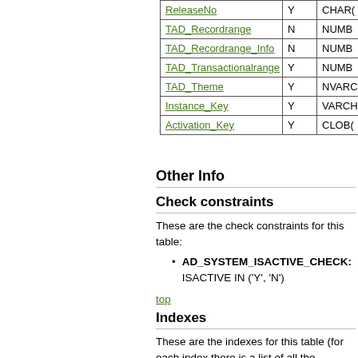| Column | Nullable | Type |
| --- | --- | --- |
| ReleaseNo | Y | CHAR(… |
| TAD_Recordrange | N | NUMB… |
| TAD_Recordrange_Info | N | NUMB… |
| TAD_Transactionalrange | Y | NUMB… |
| TAD_Theme | Y | NVARC… |
| Instance_Key | Y | VARCH… |
| Activation_Key | Y | CLOB(… |
Other Info
Check constraints
These are the check constraints for this table:
AD_SYSTEM_ISACTIVE_CHECK: ISACTIVE IN ('Y', 'N')
top
Indexes
These are the indexes for this table (for each index there is a list of all the columns included within it):